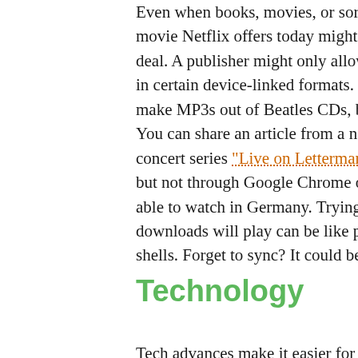Even when books, movies, or songs are available, the movie Netflix offers today might be out of the deal. A publisher might only allow some titles in certain device-linked formats. Titles make MP3s out of Beatles CDs, but you can't. You can share an article from a news site, concert series “Live on Letterman” can be watched but not through Google Chrome on Google. Not able to watch in Germany. Trying to in, downloads will play can be like playing shells. Forget to sync? It could be a long...
Technology
Tech advances make it easier for